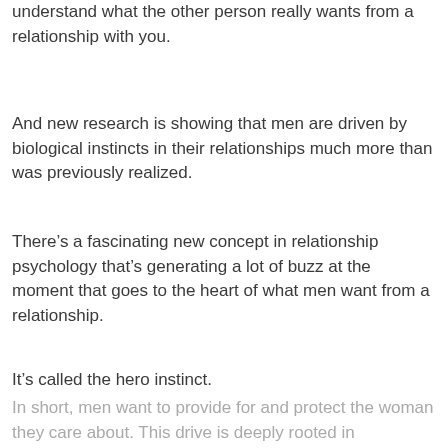understand what the other person really wants from a relationship with you.
And new research is showing that men are driven by biological instincts in their relationships much more than was previously realized.
There’s a fascinating new concept in relationship psychology that’s generating a lot of buzz at the moment that goes to the heart of what men want from a relationship.
It’s called the hero instinct.
In short, men want to provide for and protect the woman they care about. This drive is deeply rooted in